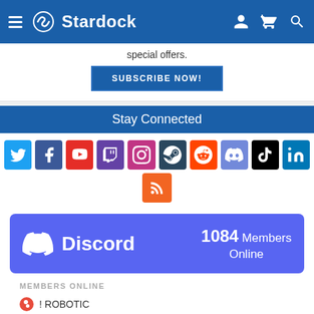Stardock
special offers.
SUBSCRIBE NOW!
Stay Connected
[Figure (infographic): Row of social media icons: Twitter, Facebook, YouTube, Twitch, Instagram, Steam, Reddit, Discord, TikTok, LinkedIn, RSS]
[Figure (infographic): Discord widget showing 1084 Members Online]
MEMBERS ONLINE
! ROBOTIC
(eXplorminate) Rob
3bdorita  League of Lege...